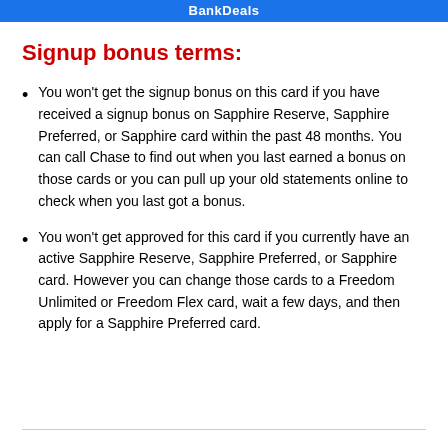BankDeals
Signup bonus terms:
You won't get the signup bonus on this card if you have received a signup bonus on Sapphire Reserve, Sapphire Preferred, or Sapphire card within the past 48 months. You can call Chase to find out when you last earned a bonus on those cards or you can pull up your old statements online to check when you last got a bonus.
You won't get approved for this card if you currently have an active Sapphire Reserve, Sapphire Preferred, or Sapphire card. However you can change those cards to a Freedom Unlimited or Freedom Flex card, wait a few days, and then apply for a Sapphire Preferred card.